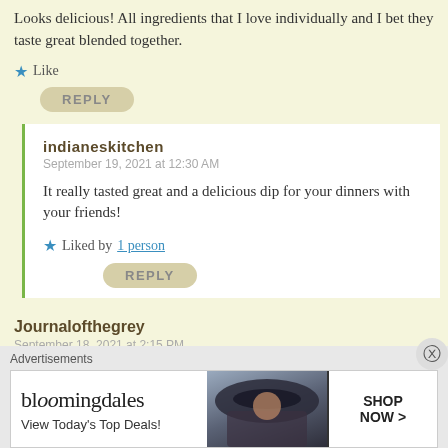Looks delicious! All ingredients that I love individually and I bet they taste great blended together.
★ Like
REPLY
indianeskitchen
September 19, 2021 at 12:30 AM
It really tasted great and a delicious dip for your dinners with your friends!
★ Liked by 1 person
REPLY
Journalofthegrey
September 18, 2021 at 2:15 PM
[Figure (screenshot): Bloomingdale's advertisement banner with woman in hat and 'SHOP NOW >' button]
Advertisements